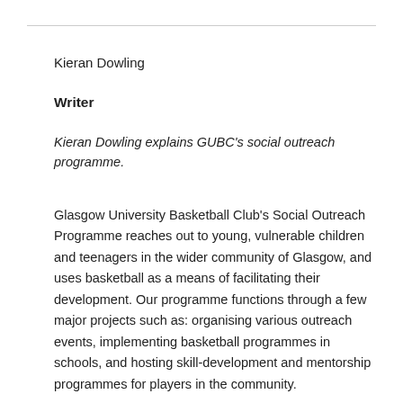Kieran Dowling
Writer
Kieran Dowling explains GUBC's social outreach programme.
Glasgow University Basketball Club's Social Outreach Programme reaches out to young, vulnerable children and teenagers in the wider community of Glasgow, and uses basketball as a means of facilitating their development. Our programme functions through a few major projects such as: organising various outreach events, implementing basketball programmes in schools, and hosting skill-development and mentorship programmes for players in the community.